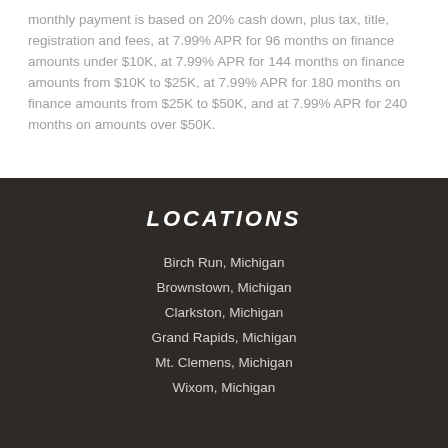monthly payment is based on 20% cash down, plus tax, title, registration and fees, at 7.99% APR for 96 months on finance amounts under $10K, at 7.99% APR for 144 months on finance amounts from $10K to $25K, at 7.99% APR for 180 months on finance amounts from $25K to $50K, and at 7.99% APR for 240 months on amounts over $50K.
LOCATIONS
Birch Run, Michigan
Brownstown, Michigan
Clarkston, Michigan
Grand Rapids, Michigan
Mt. Clemens, Michigan
Wixom, Michigan